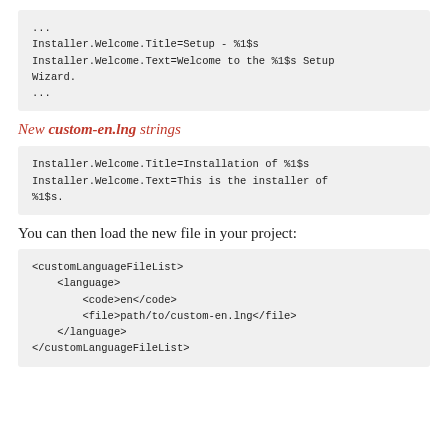[Figure (screenshot): Code block showing installer language file snippet with ellipsis, Installer.Welcome.Title and Installer.Welcome.Text keys]
New custom-en.lng strings
[Figure (screenshot): Code block showing new custom-en.lng strings: Installer.Welcome.Title=Installation of %1$s and Installer.Welcome.Text=This is the installer of %1$s.]
You can then load the new file in your project:
[Figure (screenshot): Code block showing XML snippet with customLanguageFileList, language, code and file tags for custom-en.lng]